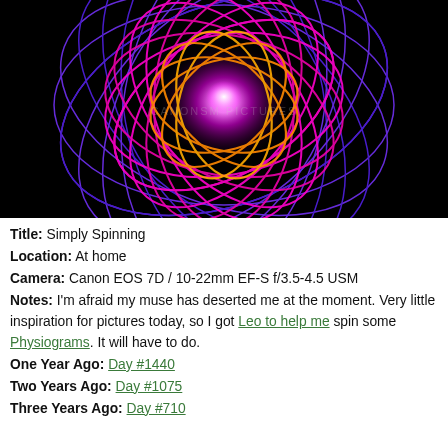[Figure (photo): Long-exposure light painting / physiogram photo on black background showing colorful spirograph-like loops of light in purple, magenta, orange, and blue forming a spherical pattern with a bright white/pink glowing center]
Title: Simply Spinning
Location: At home
Camera: Canon EOS 7D / 10-22mm EF-S f/3.5-4.5 USM
Notes: I'm afraid my muse has deserted me at the moment. Very little inspiration for pictures today, so I got Leo to help me spin some Physiograms. It will have to do.
One Year Ago: Day #1440
Two Years Ago: Day #1075
Three Years Ago: Day #710